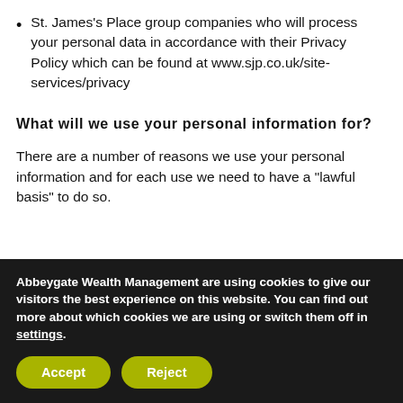St. James's Place group companies who will process your personal data in accordance with their Privacy Policy which can be found at www.sjp.co.uk/site-services/privacy
What will we use your personal information for?
There are a number of reasons we use your personal information and for each use we need to have a “lawful basis” to do so.
Abbeygate Wealth Management are using cookies to give our visitors the best experience on this website. You can find out more about which cookies we are using or switch them off in settings.